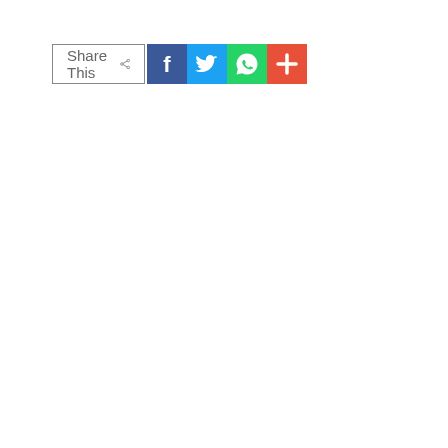[Figure (other): Social share bar with 'Share This' label and icons for Facebook, Twitter, WhatsApp, and a '+' (more) button]